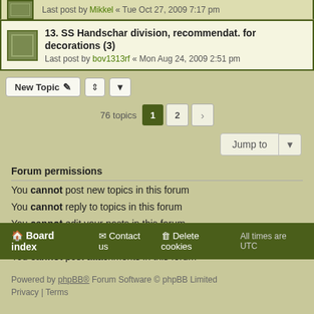Last post by Mikkel « Tue Oct 27, 2009 7:17 pm
13. SS Handschar division, recommendat. for decorations (3) — Last post by bov1313rf « Mon Aug 24, 2009 2:51 pm
New Topic | Sort | 76 topics | Page 1 2 >
Jump to
Forum permissions
You cannot post new topics in this forum
You cannot reply to topics in this forum
You cannot edit your posts in this forum
You cannot delete your posts in this forum
You cannot post attachments in this forum
Board index | Contact us | Delete cookies | All times are UTC
Powered by phpBB® Forum Software © phpBB Limited
Privacy | Terms